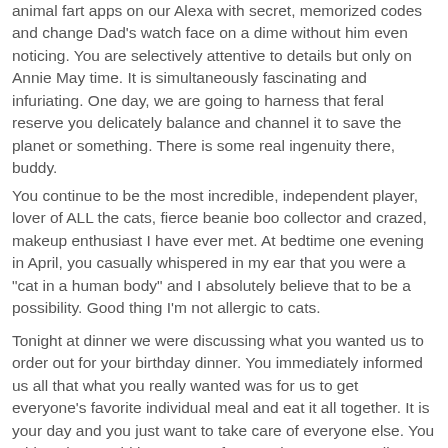animal fart apps on our Alexa with secret, memorized codes and change Dad's watch face on a dime without him even noticing. You are selectively attentive to details but only on Annie May time. It is simultaneously fascinating and infuriating. One day, we are going to harness that feral reserve you delicately balance and channel it to save the planet or something. There is some real ingenuity there, buddy.
You continue to be the most incredible, independent player, lover of ALL the cats, fierce beanie boo collector and crazed, makeup enthusiast I have ever met. At bedtime one evening in April, you casually whispered in my ear that you were a "cat in a human body" and I absolutely believe that to be a possibility. Good thing I'm not allergic to cats.
Tonight at dinner we were discussing what you wanted us to order out for your birthday dinner. You immediately informed us all that what you really wanted was for us to get everyone's favorite individual meal and eat it all together. It is your day and you just want to take care of everyone else. You told us that would be your "perfect meal." To quote Molly, "Model, it doesn't get more Annie!"